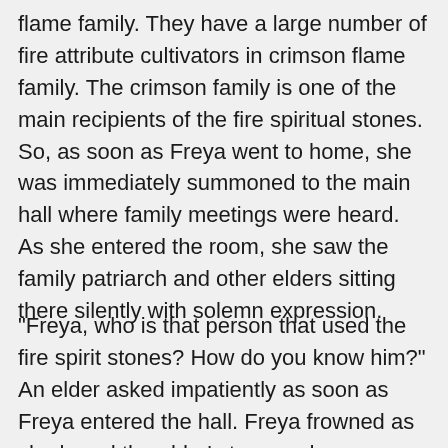flame family. They have a large number of fire attribute cultivators in crimson flame family. The crimson family is one of the main recipients of the fire spiritual stones. So, as soon as Freya went to home, she was immediately summoned to the main hall where family meetings were heard. As she entered the room, she saw the family patriarch and other elders sitting there silently with solemn expression.
"Freya, who is that person that used the fire spirit stones? How do you know him?" An elder asked impatiently as soon as Freya entered the hall. Freya frowned as she heard the elder's tone and immediately felt displeased. She immediately turned to her father who is the patriarch of the family. But he didn't seem to